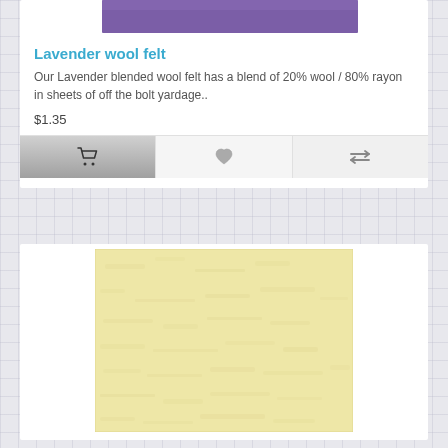[Figure (photo): Lavender/purple fabric swatch visible at top of card]
Lavender wool felt
Our Lavender blended wool felt has a blend of 20% wool / 80% rayon in sheets of off the bolt yardage..
$1.35
[Figure (illustration): Action bar with shopping cart icon, heart/wishlist icon, and compare arrows icon]
[Figure (photo): Cream/pale yellow wool felt fabric swatch texture]